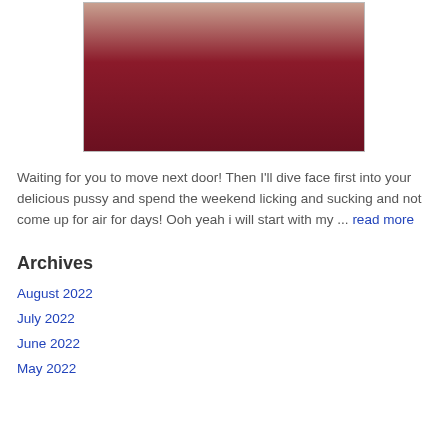[Figure (photo): Partial body photo on dark red/crimson fabric background]
Waiting for you to move next door! Then I'll dive face first into your delicious pussy and spend the weekend licking and sucking and not come up for air for days! Ooh yeah i will start with my ... read more
Archives
August 2022
July 2022
June 2022
May 2022